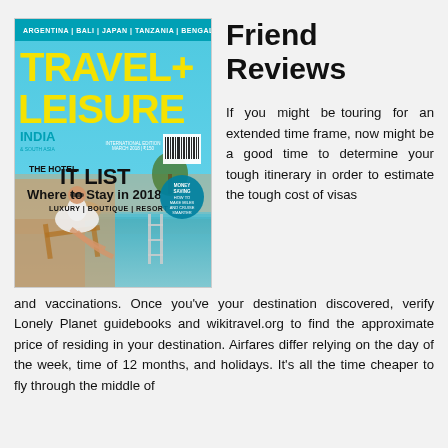[Figure (photo): Cover of Travel+Leisure India magazine, March 2018. Cyan/blue background with yellow text. Headline: ARGENTINA | BALI | JAPAN | TANZANIA | BENGALURU. Large title: TRAVEL+ LEISURE INDIA. Feature: THE HOTEL IT LIST Where to Stay in 2018 LUXURY | BOUTIQUE | RESORT. Woman in white dress sitting by infinity pool. Barcode visible. Circle callout: MONEY SAVING HOW TO MAKE MILES AND CRUISE SMARTER.]
Friend Reviews
If you might be touring for an extended time frame, now might be a good time to determine your tough itinerary in order to estimate the tough cost of visas and vaccinations. Once you've your destination discovered, verify Lonely Planet guidebooks and wikitravel.org to find the approximate price of residing in your destination. Airfares differ relying on the day of the week, time of 12 months, and holidays. It's all the time cheaper to fly through the middle of